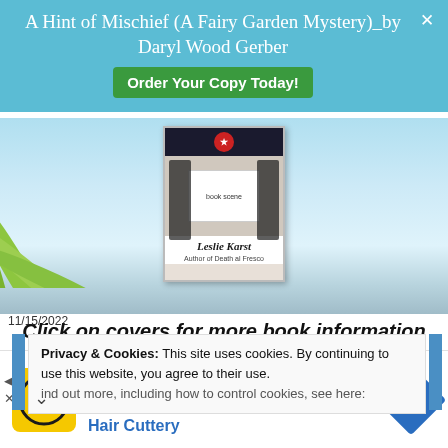A Hint of Mischief (A Fairy Garden Mystery)_by Daryl Wood Gerber
Order Your Copy Today!
[Figure (illustration): Book cover of a Leslie Karst novel displayed in a beach/tropical scene with palm leaves]
Click on covers for more book information or to order from Amazon.
11/15/2022
Privacy & Cookies: This site uses cookies. By continuing to use this website, you agree to their use. Find out more, including how to control cookies, see here:
[Figure (advertisement): Hair Cuttery advertisement: Book a Same Day Appointment with HC logo and navigation icon]